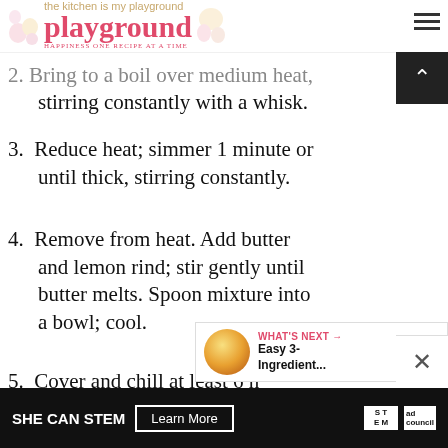the kitchen is my playground
2. Bring to a boil over medium heat, stirring constantly with a whisk.
3. Reduce heat; simmer 1 minute or until thick, stirring constantly.
4. Remove from heat. Add butter and lemon rind; stir gently until butter melts. Spoon mixture into a bowl; cool.
5. Cover and chill at least 6 hours or overnight. Lemon curd will
[Figure (other): SHE CAN STEM advertisement banner at bottom of page with Learn More button, STEM logo, and Ad Council logo]
WHAT'S NEXT → Easy 3-Ingredient...